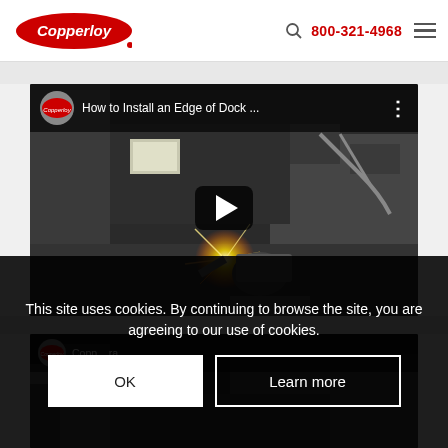Copperloy | 800-321-4968
[Figure (screenshot): YouTube embedded video player showing 'How to Install an Edge of Dock ...' with a Copperloy channel icon, play button overlay, and background scene of a worker welding/installing dock equipment with sparks visible]
[Figure (screenshot): Partial second video thumbnail showing 'Copperloy ... ra ...' title with dark industrial background]
This site uses cookies. By continuing to browse the site, you are agreeing to our use of cookies.
OK
Learn more